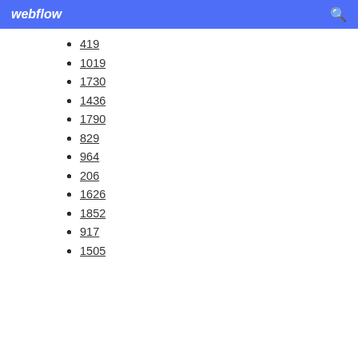webflow
419
1019
1730
1436
1790
829
964
206
1626
1852
917
1505